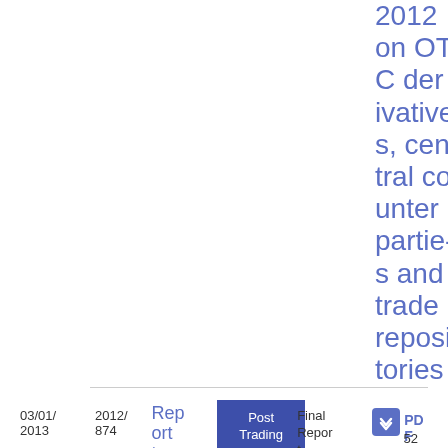2012 on OTC derivatives, central counterparties and trade repositories
03/01/2013  2012/874  Report to the  Post Trading  Final Report  PDF  52